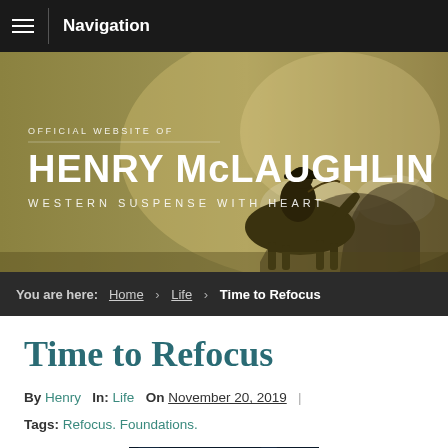Navigation
[Figure (illustration): Banner for the official website of Henry McLaughlin – Western Suspense With Heart. Shows silhouette of cowboy on horseback with additional horses in a dusty golden background.]
You are here: Home › Life › Time to Refocus
Time to Refocus
By Henry  In: Life  On November 20, 2019  |
Tags: Refocus. Foundations.
[Figure (photo): Close-up photo of a camera lens being held by a hand, with a dark blue bokeh background.]